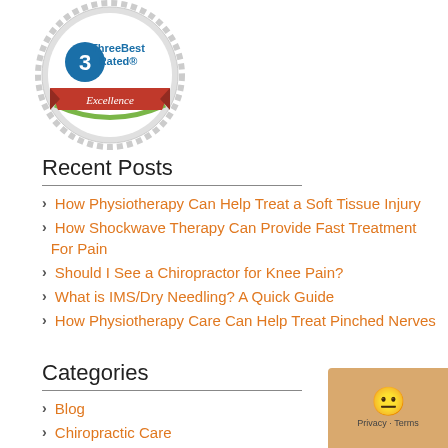[Figure (logo): ThreeBest Rated Excellence badge/seal with red ribbon and green logo]
Recent Posts
How Physiotherapy Can Help Treat a Soft Tissue Injury
How Shockwave Therapy Can Provide Fast Treatment For Pain
Should I See a Chiropractor for Knee Pain?
What is IMS/Dry Needling? A Quick Guide
How Physiotherapy Care Can Help Treat Pinched Nerves
Categories
Blog
Chiropractic Care
Company News